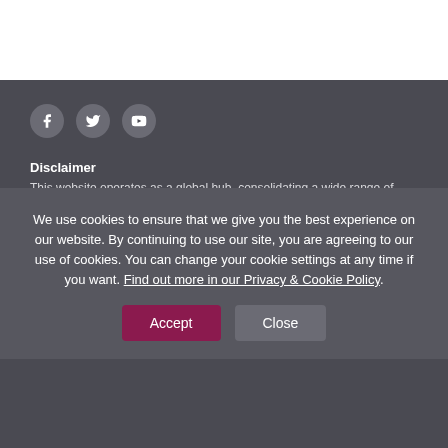[Figure (other): Social media icons: Facebook, Twitter, YouTube circles on dark background]
Disclaimer
This website operates as a global hub, consolidating a wide range of resources on HIV criminalisation for advocates working to abolish criminal and similar laws, policies and practices that regulate, control and punish people living with HIV based on their HIV-positive status.
We use cookies to ensure that we give you the best experience on our website. By continuing to use our site, you are agreeing to our use of cookies. You can change your cookie settings at any time if you want. Find out more in our Privacy & Cookie Policy.
Accept | Close